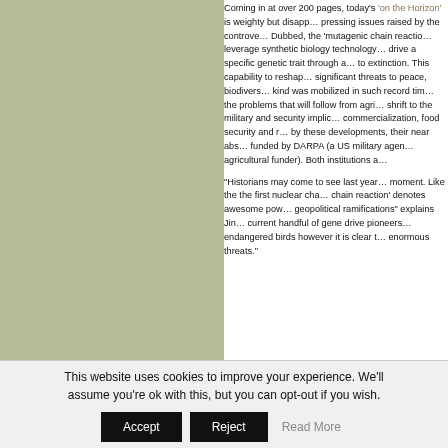[Figure (illustration): Green/olive colored rectangular panel on the left side of the page]
Coming in at over 200 pages, today's 'on the Horizon' is weighty but disappointing on the pressing issues raised by the controversy. Dubbed, the 'mutagenic chain reaction' can leverage synthetic biology technology to drive a specific genetic trait through a population to extinction. This capability to reshape significant threats to peace, biodiversity… kind was mobilized in such record time… the problems that will follow from agri… shrift to the military and security implic… commercialization, food security and r… by these developments, their near abs… funded by DARPA (a US military agen… agricultural funder). Both institutions a…

"Historians may come to see last year… moment. Like the the first nuclear cha… chain reaction' denotes awesome pow… geopolitical ramifications" explains Jin… current handful of gene drive pioneers… endangered birds however it is clear t… enormous threats."
This website uses cookies to improve your experience. We'll assume you're ok with this, but you can opt-out if you wish.